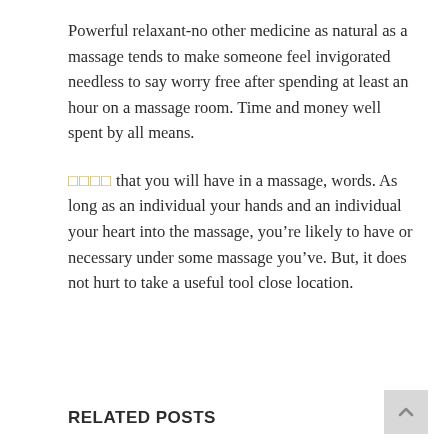Powerful relaxant-no other medicine as natural as a massage tends to make someone feel invigorated needless to say worry free after spending at least an hour on a massage room. Time and money well spent by all means.
□□□□ that you will have in a massage, words. As long as an individual your hands and an individual your heart into the massage, you’re likely to have or necessary under some massage you’ve. But, it does not hurt to take a useful tool close location.
RELATED POSTS